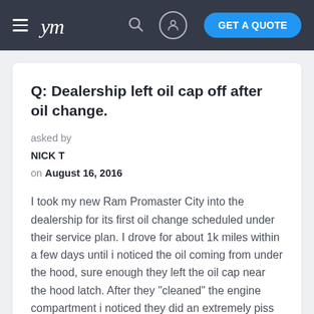ym  GET A QUOTE
Q: Dealership left oil cap off after oil change.
asked by
NICK T
on August 16, 2016
I took my new Ram Promaster City into the dealership for its first oil change scheduled under their service plan. I drove for about 1k miles within a few days until i noticed the oil coming from under the hood, sure enough they left the oil cap near the hood latch. After they "cleaned" the engine compartment i noticed they did an extremely piss poor job